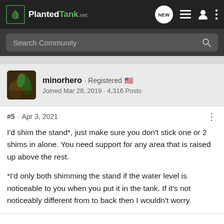PlantedTank · NEW
Search Community
minorhero · Registered 🇺🇸
Joined Mar 28, 2019 · 4,316 Posts
#5 · Apr 3, 2021
I'd shim the stand*, just make sure you don't stick one or 2 shims in alone. You need support for any area that is raised up above the rest.

*I'd only both shimming the stand if the water level is noticeable to you when you put it in the tank. If it's not noticeably different from to back then I wouldn't worry.